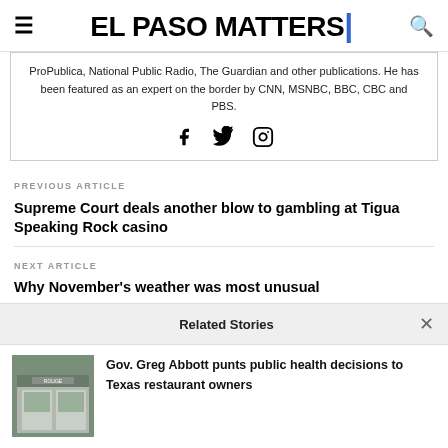EL PASO MATTERS
ProPublica, National Public Radio, The Guardian and other publications. He has been featured as an expert on the border by CNN, MSNBC, BBC, CBC and PBS.
[Figure (other): Social media icons: Facebook, Twitter, Instagram]
PREVIOUS ARTICLE
Supreme Court deals another blow to gambling at Tigua Speaking Rock casino
NEXT ARTICLE
Why November's weather was most unusual
Related Stories
[Figure (photo): Thumbnail photo of a storefront with signage]
Gov. Greg Abbott punts public health decisions to Texas restaurant owners